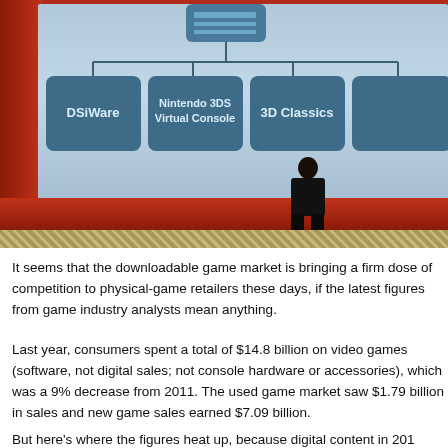[Figure (photo): A person presenting on stage in front of a large screen showing a Nintendo 3DS eShop organizational chart with boxes labeled DSiWare, Nintendo 3DS Virtual Console, 3D Classics, and a partially visible fourth box. The stage has red curtain/wall elements and the screen has a light blue background.]
It seems that the downloadable game market is bringing a firm dose of competition to physical-game retailers these days, if the latest figures from game industry analysts mean anything.
Last year, consumers spent a total of $14.8 billion on video games (software, not digital sales; not console hardware or accessories), which was a 9% decrease from 2011. The used game market saw $1.79 billion in sales and new game sales earned $7.09 billion.
But here's where the figures heat up, because digital content in 201...